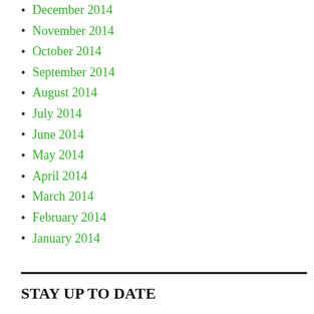December 2014
November 2014
October 2014
September 2014
August 2014
July 2014
June 2014
May 2014
April 2014
March 2014
February 2014
January 2014
STAY UP TO DATE